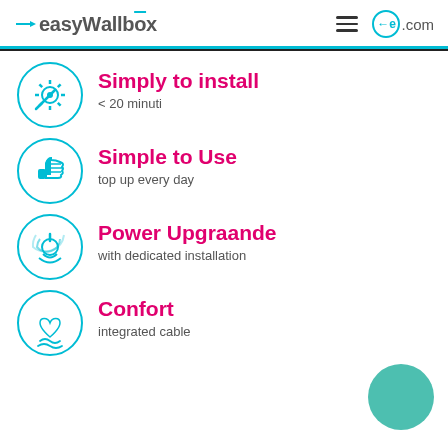easyWallbox — .com
Simply to install — < 20 minuti
Simple to Use — top up every day
Power Upgraande — with dedicated installation
Confort — integrated cable